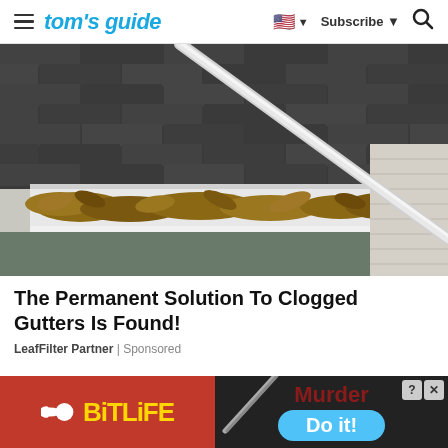tom's guide | Subscribe | Search
[Figure (photo): A gutter filled with dead brown leaves on a house roof with gray asphalt shingles. A metal rod or tool is propped diagonally across the clogged gutter. The house siding is visible on the right.]
The Permanent Solution To Clogged Gutters Is Found!
LeafFilter Partner | Sponsored
[Figure (other): Advertisement banner split in two halves. Left half: red background with BitLife logo (yellow text with sperm-like icon). Right half: dark background showing a pencil/knife diagonal, text 'Murder' in dark red, and a blue pill-shaped button reading 'Do it!' with close/question-mark icons in top right corner.]